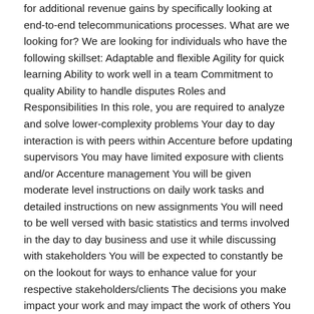for additional revenue gains by specifically looking at end-to-end telecommunications processes. What are we looking for? We are looking for individuals who have the following skillset: Adaptable and flexible Agility for quick learning Ability to work well in a team Commitment to quality Ability to handle disputes Roles and Responsibilities In this role, you are required to analyze and solve lower-complexity problems Your day to day interaction is with peers within Accenture before updating supervisors You may have limited exposure with clients and/or Accenture management You will be given moderate level instructions on daily work tasks and detailed instructions on new assignments You will need to be well versed with basic statistics and terms involved in the day to day business and use it while discussing with stakeholders You will be expected to constantly be on the lookout for ways to enhance value for your respective stakeholders/clients The decisions you make impact your work and may impact the work of others You will be an individual contributor as a part of a team, with a focused scope of work. Please note this role